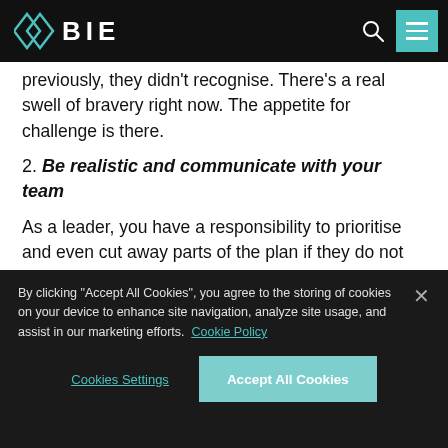BIE
previously, they didn't recognise. There's a real swell of bravery right now. The appetite for challenge is there.
2. Be realistic and communicate with your team
As a leader, you have a responsibility to prioritise and even cut away parts of the plan if they do not serve your team. Get buy-in from them, assess the plan, and be realistic about what you can achieve. It's easier said than done, but it may save you pain in the future.
By clicking "Accept All Cookies", you agree to the storing of cookies on your device to enhance site navigation, analyze site usage, and assist in our marketing efforts. Cookie Policy
Cookies Settings | Accept All Cookies